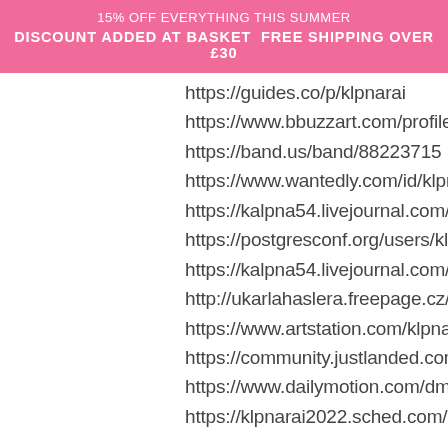15% OFF EVERYTHING THIS SUMMER
DISCOUNT ADDED AT BASKET FREE SHIPPING OVER £30
https://guides.co/p/klpnarai
https://www.bbuzzart.com/profile/4391...
https://band.us/band/88223715
https://www.wantedly.com/id/klpna_ro...
https://kalpna54.livejournal.com/profile...
https://postgresconf.org/users/klpna-rai...
https://kalpna54.livejournal.com/378.ht...
http://ukarlahaslera.freepage.cz/guestb...
https://www.artstation.com/klpnarai8/p...
https://community.justlanded.com/en/p...
https://www.dailymotion.com/dm_0553...
https://klpnarai2022.sched.com/profile...